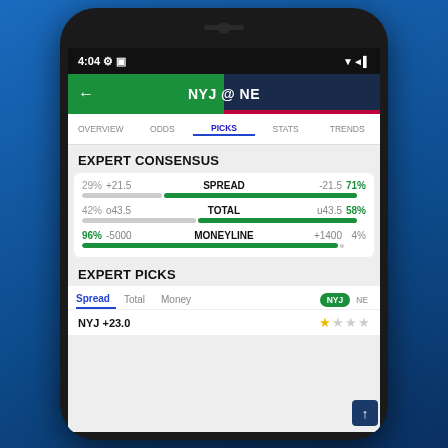[Figure (screenshot): Mobile app screenshot showing sports betting picks for NYJ @ NE game. Includes navigation tabs (Overview, Odds, Picks, Stats, Trends), Expert Consensus section with Spread (29%/71%), Total (42%/58%), Moneyline (96%/4%) data, and Expert Picks section with NYJ +23.0 selection.]
EXPERT CONSENSUS
| Left% | Left Odds | Category | Right Odds | Right% |
| --- | --- | --- | --- | --- |
| 29% | +21.5 | SPREAD | -21.5 | 71% |
| 42% | o43.5 | TOTAL | u43.5 | 58% |
| 96% | -5000 | MONEYLINE | +1400 | 4% |
EXPERT PICKS
Spread | Total | Money | NYJ | NE
NYJ +23.0